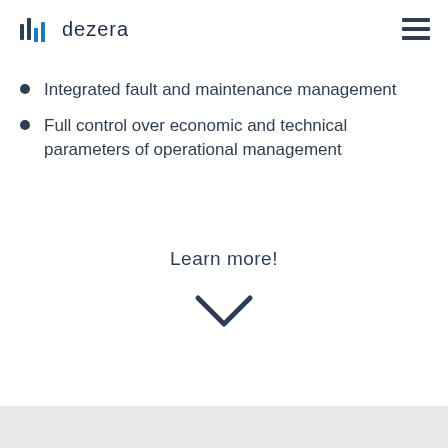dezera
Integrated fault and maintenance management
Full control over economic and technical parameters of operational management
Learn more!
[Figure (illustration): Chevron/arrow pointing downward in dark navy color]